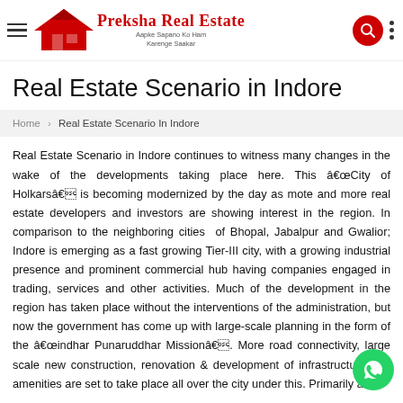Preksha Real Estate — Aapke Sapano Ko Ham Karenge Saakar
Real Estate Scenario in Indore
Home › Real Estate Scenario In Indore
Real Estate Scenario in Indore continues to witness many changes in the wake of the developments taking place here. This â��City of Holkarsâ�� is becoming modernized by the day as mote and more real estate developers and investors are showing interest in the region. In comparison to the neighboring cities of Bhopal, Jabalpur and Gwalior; Indore is emerging as a fast growing Tier-III city, with a growing industrial presence and prominent commercial hub having companies engaged in trading, services and other activities. Much of the development in the region has taken place without the interventions of the administration, but now the government has come up with large-scale planning in the form of the â��indhar Punaruddhar Missionâ��. More road connectivity, large scale new construction, renovation & development of infrastructure and amenities are set to take place all over the city under this. Primarily a